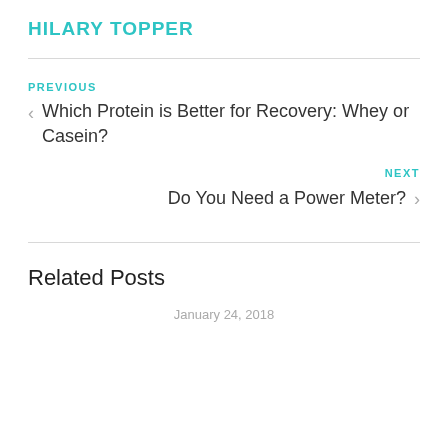HILARY TOPPER
PREVIOUS
< Which Protein is Better for Recovery: Whey or Casein?
NEXT
Do You Need a Power Meter? >
Related Posts
January 24, 2018